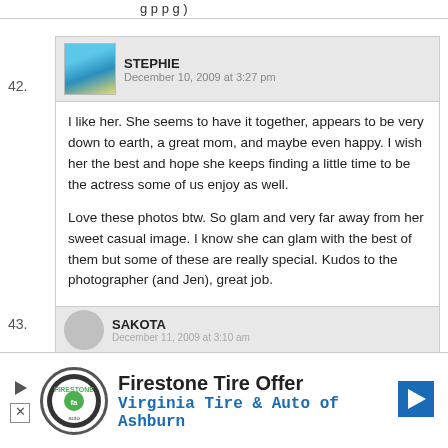(partial text from previous comment at top)
42. STEPHIE
December 10, 2009 at 3:27 pm

I like her. She seems to have it together, appears to be very down to earth, a great mom, and maybe even happy. I wish her the best and hope she keeps finding a little time to be the actress some of us enjoy as well.

Love these photos btw. So glam and very far away from her sweet casual image. I know she can glam with the best of them but some of these are really special. Kudos to the photographer (and Jen), great job.
43. SAKOTA
December 11, 2009 at 3:10 am
Firestone Tire Offer
Virginia Tire & Auto of Ashburn